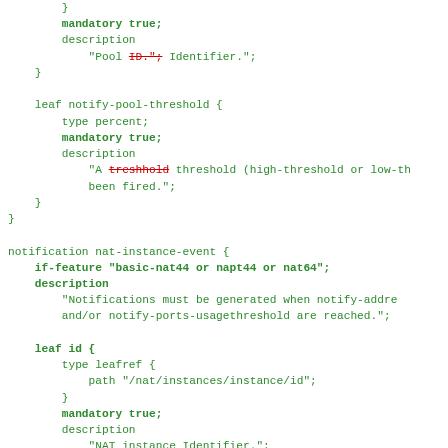YANG/NETCONF source code snippet showing notification and leaf definitions for NAT pool threshold and instance event